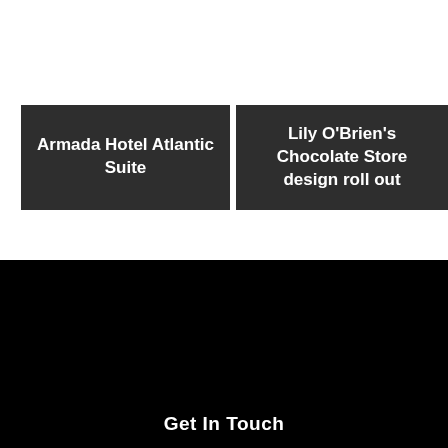Armada Hotel Atlantic Suite
Lily O'Brien's Chocolate Store design roll out
Get In Touch